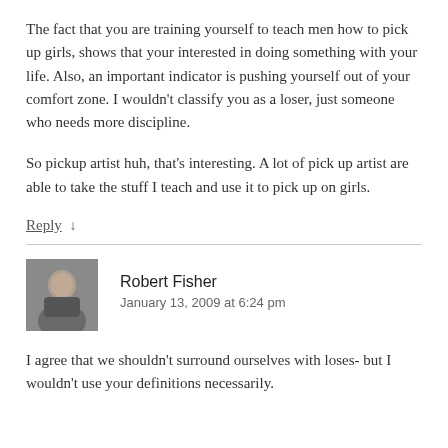The fact that you are training yourself to teach men how to pick up girls, shows that your interested in doing something with your life. Also, an important indicator is pushing yourself out of your comfort zone. I wouldn't classify you as a loser, just someone who needs more discipline.
So pickup artist huh, that's interesting. A lot of pick up artist are able to take the stuff I teach and use it to pick up on girls.
Reply ↓
Robert Fisher
January 13, 2009 at 6:24 pm
I agree that we shouldn't surround ourselves with loses- but I wouldn't use your definitions necessarily.